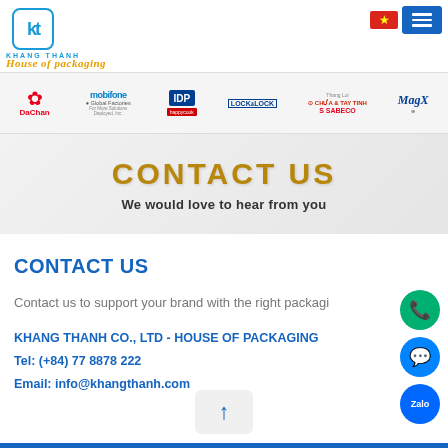[Figure (logo): Khang Thanh company logo with KT letters in blue border box, brand name KHANG THANH below]
House of packaging
[Figure (screenshot): Navigation bar with Vietnamese flag and hamburger menu button]
[Figure (infographic): Partner brands banner: DaChan, Mobifone, Global Factories, IDP, happycook, Lock&Lock, Thang Loi, SABECO, MagX]
[Figure (infographic): Contact Us banner with gold bold text CONTACT US and subtitle We would love to hear from you]
CONTACT US
Contact us to support your brand with the right packagi
KHANG THANH CO., LTD - HOUSE OF PACKAGING
Tel: (+84) 77 8878 222
Email: info@khangthanh.com
[Figure (infographic): Floating contact buttons: phone (green), messenger (blue), Zalo (dark blue)]
[Figure (other): Back to top arrow button]